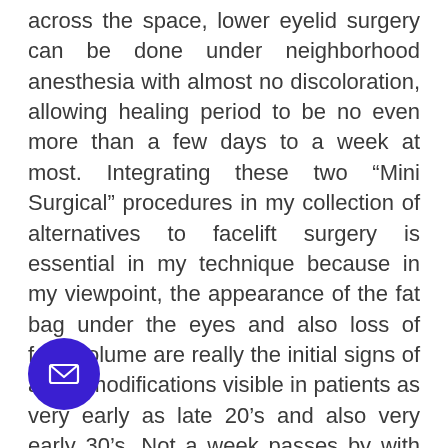across the space, lower eyelid surgery can be done under neighborhood anesthesia with almost no discoloration, allowing healing period to be no even more than a few days to a week at most. Integrating these two “Mini Surgical” procedures in my collection of alternatives to facelift surgery is essential in my technique because in my viewpoint, the appearance of the fat bag under the eyes and also loss of face volume are really the initial signs of aging modifications visible in patients as very early as late 20’s and also very early 30’s. Not a week passes by with individuals coming in wanting some kind of “lifting” surgery due to their “worn out” and also “gaunt” appearance when in truth, r eyelid surgery is what they needed to clear heir weary appearance due to puffy eye bags as well as quantity restoration and also re-
[Figure (other): Purple circular email button in the lower left area of the page]